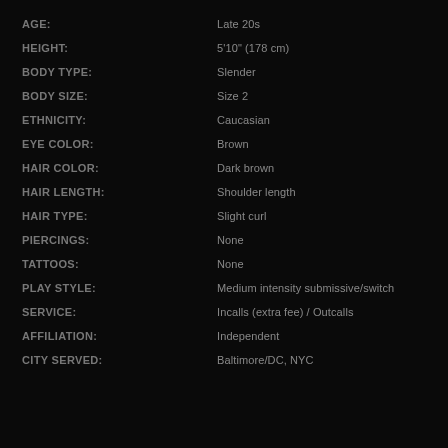AGE: Late 20s
HEIGHT: 5'10" (178 cm)
BODY TYPE: Slender
BODY SIZE: Size 2
ETHNICITY: Caucasian
EYE COLOR: Brown
HAIR COLOR: Dark brown
HAIR LENGTH: Shoulder length
HAIR TYPE: Slight curl
PIERCINGS: None
TATTOOS: None
PLAY STYLE: Medium intensity submissive/switch
SERVICE: Incalls (extra fee) / Outcalls
AFFILIATION: Independent
CITY SERVED: Baltimore/DC, NYC